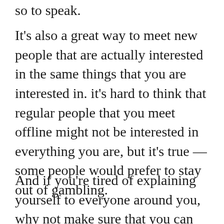so to speak.
It's also a great way to meet new people that are actually interested in the same things that you are interested in. it's hard to think that regular people that you meet offline might not be interested in everything you are, but it's true — some people would prefer to stay out of gambling.
And if you're tired of explaining yourself to everyone around you, why not make sure that you can just go online and bet